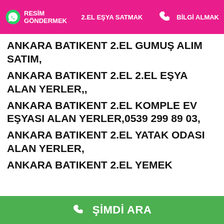RESİM GÖNDERMEK | 2.EL EŞYA SATMAK | BİLGİ ALMAK
ANKARA BATIKENT 2.EL GUMUŞ ALIM SATIM,
ANKARA BATIKENT 2.EL 2.EL EŞYA ALAN YERLER,,
ANKARA BATIKENT 2.EL KOMPLE EV EŞYASI ALAN YERLER,0539 299 89 03,
ANKARA BATIKENT 2.EL YATAK ODASI ALAN YERLER,
ANKARA BATIKENT 2.EL YEMEK
ŞİMDİ ARA